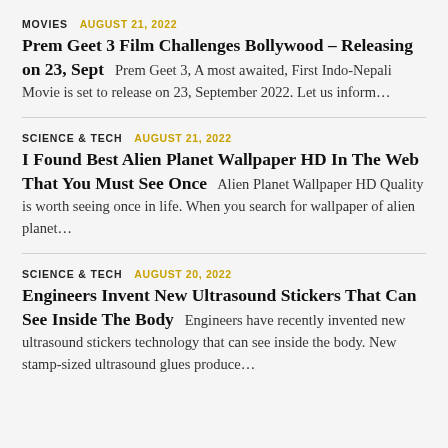MOVIES   AUGUST 21, 2022
Prem Geet 3 Film Challenges Bollywood – Releasing on 23, Sept  Prem Geet 3, A most awaited, First Indo-Nepali Movie is set to release on 23, September 2022. Let us inform…
SCIENCE & TECH   AUGUST 21, 2022
I Found Best Alien Planet Wallpaper HD In The Web That You Must See Once  Alien Planet Wallpaper HD Quality is worth seeing once in life. When you search for wallpaper of alien planet…
SCIENCE & TECH   AUGUST 20, 2022
Engineers Invent New Ultrasound Stickers That Can See Inside The Body  Engineers have recently invented new ultrasound stickers technology that can see inside the body. New stamp-sized ultrasound glues produce…